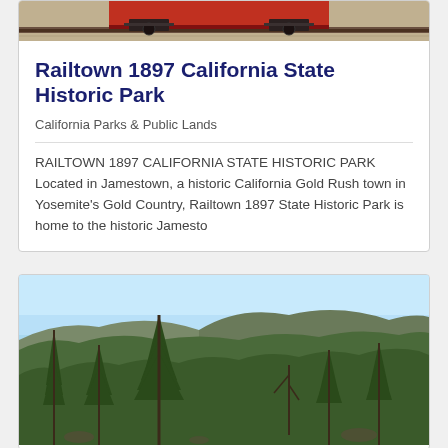[Figure (photo): Partial photo of a historic railroad car/train undercarriage on gravel, cropped at top]
Railtown 1897 California State Historic Park
California Parks & Public Lands
RAILTOWN 1897 CALIFORNIA STATE HISTORIC PARK Located in Jamestown, a historic California Gold Rush town in Yosemite's Gold Country, Railtown 1897 State Historic Park is home to the historic Jamesto
[Figure (photo): Landscape photo showing pine trees in the foreground and a forested mountain ridge in the background under a clear blue sky]